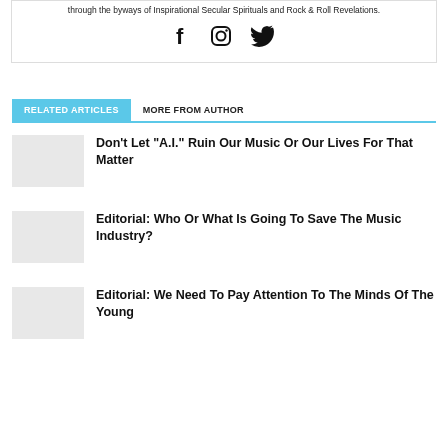through the byways of Inspirational Secular Spirituals and Rock & Roll Revelations.
[Figure (other): Social media icons: Facebook, Instagram, Twitter]
RELATED ARTICLES	MORE FROM AUTHOR
Don't Let “A.I.” Ruin Our Music Or Our Lives For That Matter
Editorial: Who Or What Is Going To Save The Music Industry?
Editorial: We Need To Pay Attention To The Minds Of The Young